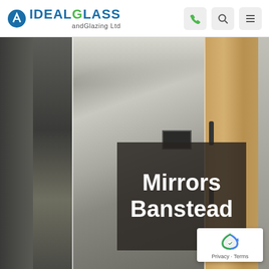IDEAL GLASS and Glazing Ltd
[Figure (photo): Interior room photo showing large mirror panels and wooden door, with a 'Mirrors Banstead' text overlay on a dark semi-transparent box. Bottom-right corner shows a reCAPTCHA badge with Privacy and Terms links.]